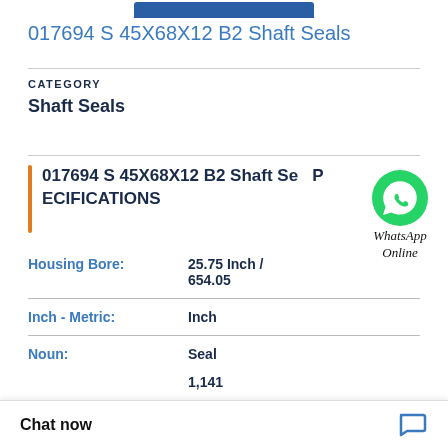017694 S 45X68X12 B2 Shaft Seals
CATEGORY
Shaft Seals
017694 S 45X68X12 B2 Shaft Seals SPECIFICATIONS
| Property | Value |
| --- | --- |
| Housing Bore: | 25.75 Inch / 654.05 |
| Inch - Metric: | Inch |
| Noun: | Seal |
Chat now